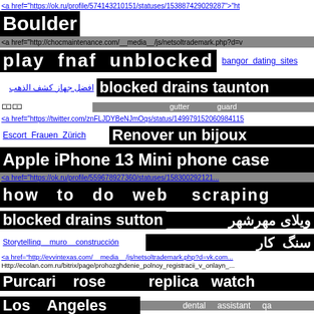<a href="https://ok.ru/profile/574143210151/statuses/153887429029287">"ht
Boulder
<a href="http://chocmaintenance.com/__media__/js/netsoltrademark.php?d=v
play fnaf unblocked
bangor dating sites
افضل جهاز كشف الذهب
blocked drains taunton
🀱🀱
gutter guard
<a href="https://twitter.com/znFLJDYBeNJmOqs/status/14997915206098411...
Escort Frauen Zürich
Renover un bijoux
Apple iPhone 13 Mini phone case
<a href="https://ok.ru/profile/559678927360/statuses/15830029212...
how to do web scraping
blocked drains sutton
ویلای مهرشهر
سنگ کار
Storytelling muro construcción
<a href="http://evvintexas.com/__media__/js/netsoltrademark.php?d=vk.com...
Http://ecolan.com.ru/bitrix/page/prohozghdenie_polnoy_registracii_v_onlayn_...
Purcari rose
replica watch
Los Angeles
dental assistant qa
Allinlotto168
Airbnb investor loans
St. Petersburg
slot ture wallet
rasdhoo divers